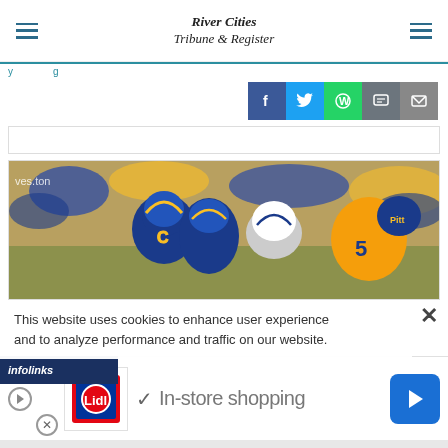River Cities Tribune & Register
[Figure (screenshot): Social share buttons: Facebook (blue), Twitter (light blue), WhatsApp (green), message (gray), email (dark gray)]
[Figure (photo): Football players in blue and gold Pittsburgh Panthers uniforms during a game, helmets visible including a white West Virginia helmet]
This website uses cookies to enhance user experience and to analyze performance and traffic on our website.
[Figure (logo): Infolinks logo in white text on dark blue background]
[Figure (infographic): Lidl advertisement banner showing Lidl logo, checkmark, and text 'In-store shopping' with a blue directional arrow button]